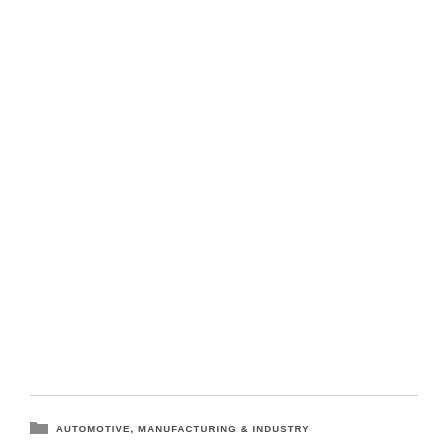AUTOMOTIVE, MANUFACTURING & INDUSTRY